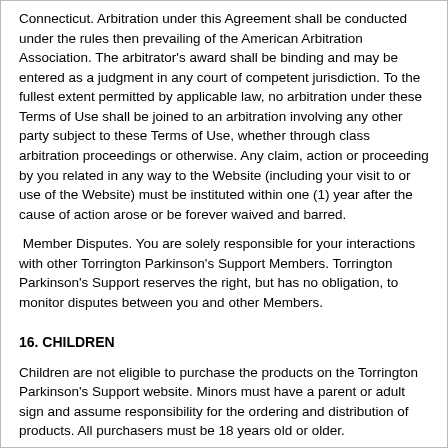Connecticut. Arbitration under this Agreement shall be conducted under the rules then prevailing of the American Arbitration Association. The arbitrator's award shall be binding and may be entered as a judgment in any court of competent jurisdiction. To the fullest extent permitted by applicable law, no arbitration under these Terms of Use shall be joined to an arbitration involving any other party subject to these Terms of Use, whether through class arbitration proceedings or otherwise. Any claim, action or proceeding by you related in any way to the Website (including your visit to or use of the Website) must be instituted within one (1) year after the cause of action arose or be forever waived and barred.
Member Disputes. You are solely responsible for your interactions with other Torrington Parkinson's Support Members. Torrington Parkinson's Support reserves the right, but has no obligation, to monitor disputes between you and other Members.
16. CHILDREN
Children are not eligible to purchase the products on the Torrington Parkinson's Support website. Minors must have a parent or adult sign and assume responsibility for the ordering and distribution of products. All purchasers must be 18 years old or older.
17. MISCELLANEOUS